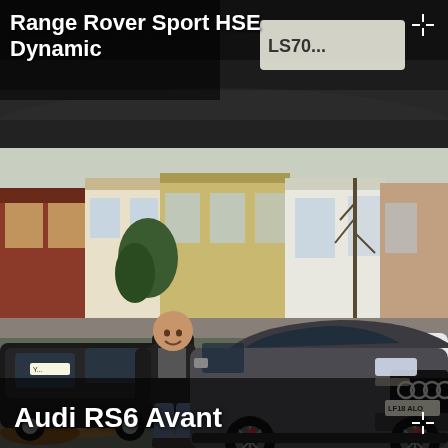[Figure (photo): Close-up of a Range Rover Sport HSE Dynamic rear badge and license plate (LS70...) on a dark background]
Range Rover Sport HSE Dynamic
[Figure (photo): A man standing beside a dark grey Audi RS6 Avant (license plate LF18 ALO) parked on a London residential street with Victorian terraced houses in the background. Autumn leaves on the ground. A black MINI and white VW SUV also visible.]
Audi RS6 Avant